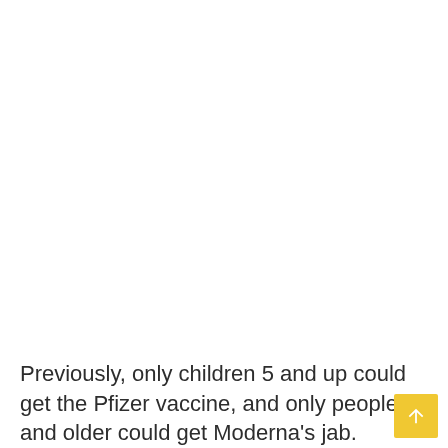Previously, only children 5 and up could get the Pfizer vaccine, and only people 18 and older could get Moderna's jab.